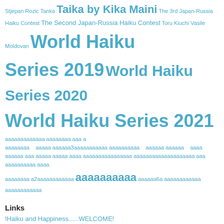Stjepan Rozic Tanka Taika by Kika Maini The 3rd Japan-Russia Haiku Contest The Second Japan-Russia Haiku Contest Toru Kiuchi Vasile Moldovan World Haiku Series 2019 World Haiku Series 2020 World Haiku Series 2021 (Japanese tags)
Links
!Haiku and Happiness…..WELCOME!
A DRIFTER AND HIS HAIKU